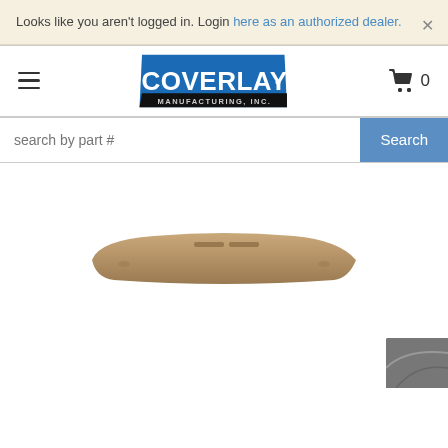Looks like you aren't logged in. Login here as an authorized dealer.
[Figure (logo): Coverlay Manufacturing Inc. logo - blue parallelogram shape with white text]
search by part #
[Figure (photo): Tan/beige dash cover product - a curved dashboard cover mat for a vehicle]
[Figure (photo): Partial view of a vehicle interior in the bottom-right corner]